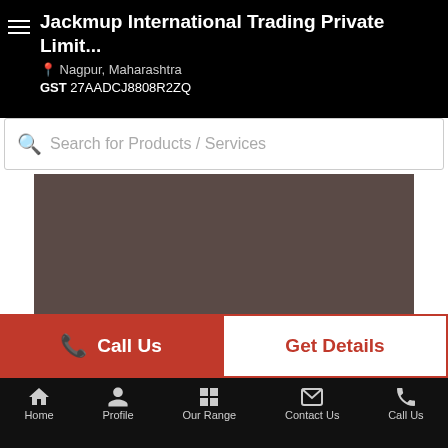Jackmup International Trading Private Limit... | Nagpur, Maharashtra | GST 27AADCJ8808R2ZQ
Search for Products / Services
[Figure (photo): Product image placeholder — dark brownish-grey rectangle]
Approx. Price: Rs 105.28 / Pack
Product Details:
Minimum Order Quantity: 1 Pack
Brand:...more
Call Us
Get Details
Home | Profile | Our Range | Contact Us | Call Us